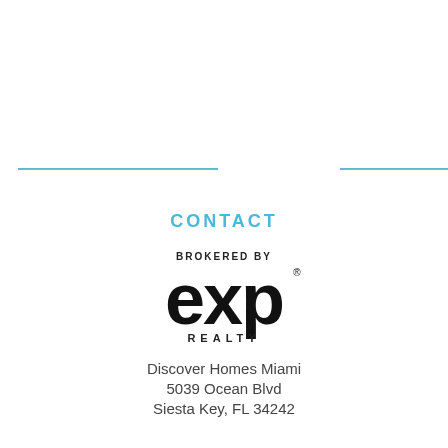[Figure (logo): Two decorative horizontal blue lines across the page width, suggesting a section divider]
CONTACT
[Figure (logo): eXp Realty logo — 'BROKERED BY' text above large 'exp' lettering with 'REALTY' below]
Discover Homes Miami
5039 Ocean Blvd
Siesta Key, FL 34242